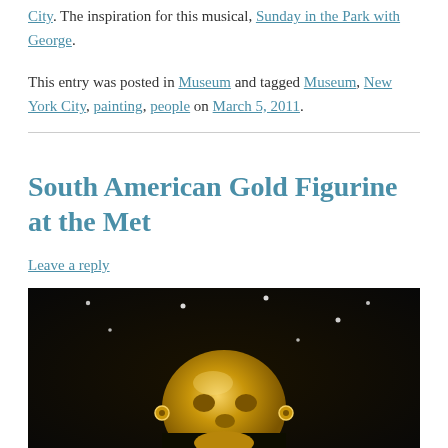City. The inspiration for this musical, Sunday in the Park with George.
This entry was posted in Museum and tagged Museum, New York City, painting, people on March 5, 2011.
South American Gold Figurine at the Met
Leave a reply
[Figure (photo): A gold figurine head photographed against a dark background with small light reflections, displayed at the Metropolitan Museum of Art.]